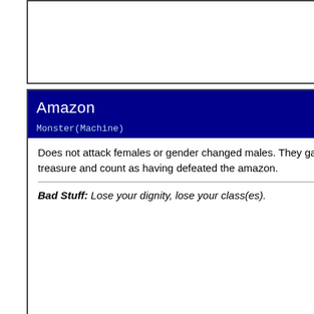[Figure (other): Top portion of a card (cropped), showing only the white body area with no visible content.]
Amazon
L8/T2
Monster(Machine)
Does not attack females or gender changed males. They gain +1 treasure and count as having defeated the amazon.
Bad Stuff: Lose your dignity, lose your class(es).
Colossus
L17/T4
Monster(Machine)